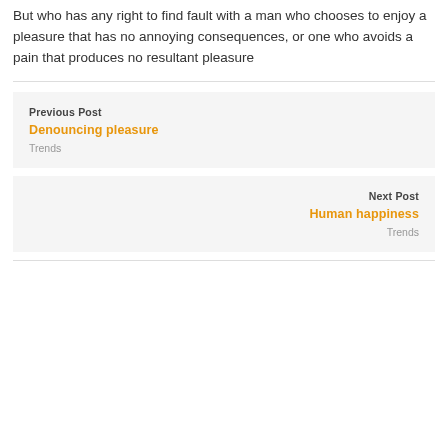But who has any right to find fault with a man who chooses to enjoy a pleasure that has no annoying consequences, or one who avoids a pain that produces no resultant pleasure
Previous Post
Denouncing pleasure
Trends
Next Post
Human happiness
Trends